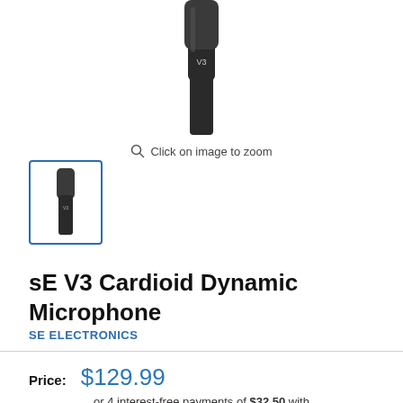[Figure (photo): sE V3 cardioid dynamic microphone shown vertically, dark grey/black metal body with V3 label]
Click on image to zoom
[Figure (photo): Small thumbnail image of the sE V3 microphone in a blue-bordered selection box]
sE V3 Cardioid Dynamic Microphone
SE ELECTRONICS
Price: $129.99
or 4 interest-free payments of $32.50 with afterpay